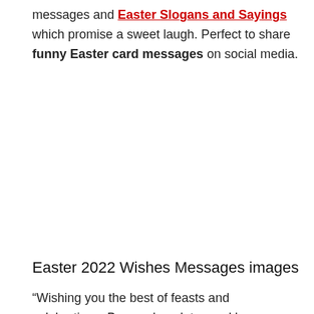messages and Easter Slogans and Sayings which promise a sweet laugh. Perfect to share funny Easter card messages on social media.
Easter 2022 Wishes Messages images
“Wishing you the best of feasts and celebrations, Bunny chocolates and love… Wishing you an Easter full of fun and